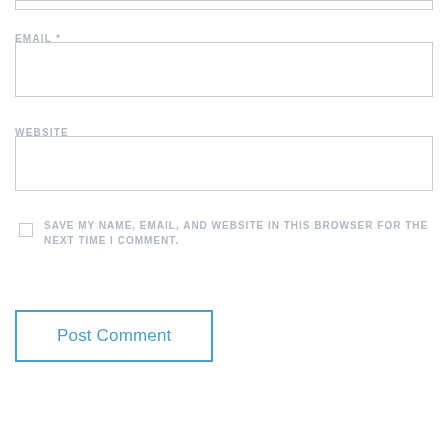EMAIL *
WEBSITE
SAVE MY NAME, EMAIL, AND WEBSITE IN THIS BROWSER FOR THE NEXT TIME I COMMENT.
Post Comment